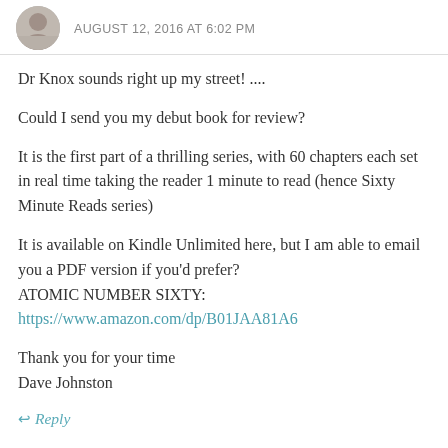AUGUST 12, 2016 AT 6:02 PM
Dr Knox sounds right up my street! ....
Could I send you my debut book for review?
It is the first part of a thrilling series, with 60 chapters each set in real time taking the reader 1 minute to read (hence Sixty Minute Reads series)
It is available on Kindle Unlimited here, but I am able to email you a PDF version if you'd prefer?
ATOMIC NUMBER SIXTY:
https://www.amazon.com/dp/B01JAA81A6
Thank you for your time
Dave Johnston
Reply